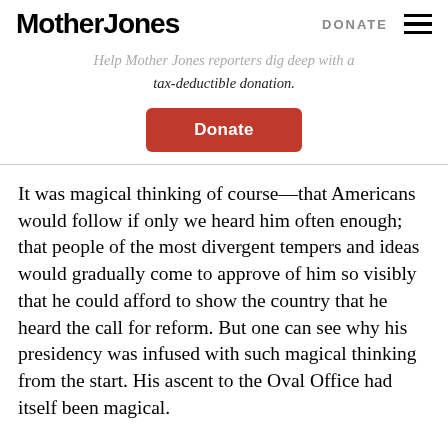Mother Jones  DONATE
Help Mother Jones reporters dig deep with a tax-deductible donation.
[Figure (other): Orange/red rounded rectangle Donate button]
It was magical thinking of course—that Americans would follow if only we heard him often enough; that people of the most divergent tempers and ideas would gradually come to approve of him so visibly that he could afford to show the country that he heard the call for reform. But one can see why his presidency was infused with such magical thinking from the start. His ascent to the Oval Office had itself been magical.